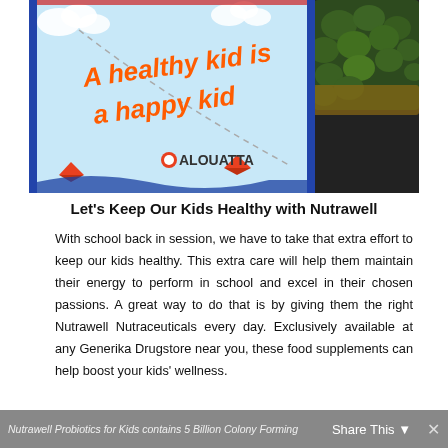[Figure (photo): Photo of a colorful children's lunchbox/pouch with text 'A healthy kid is a happy kid' and the Alouatta logo, with a basket of herbs in the background]
Let's Keep Our Kids Healthy with Nutrawell
With school back in session, we have to take that extra effort to keep our kids healthy. This extra care will help them maintain their energy to perform in school and excel in their chosen passions. A great way to do that is by giving them the right Nutrawell Nutraceuticals every day. Exclusively available at any Generika Drugstore near you, these food supplements can help boost your kids' wellness.
Nutrawell Probiotics for Kids contains 5 Billion Colony Forming    Share This ✕